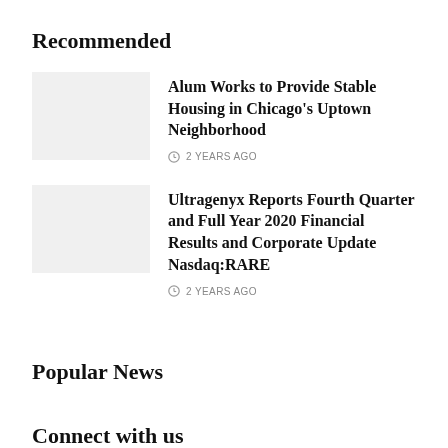Recommended
[Figure (photo): Thumbnail image placeholder for article about stable housing in Chicago's Uptown Neighborhood]
Alum Works to Provide Stable Housing in Chicago's Uptown Neighborhood
2 YEARS AGO
[Figure (photo): Thumbnail image placeholder for Ultragenyx financial results article]
Ultragenyx Reports Fourth Quarter and Full Year 2020 Financial Results and Corporate Update Nasdaq:RARE
2 YEARS AGO
Popular News
Connect with us